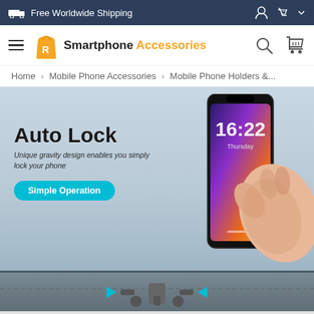Free Worldwide Shipping
[Figure (screenshot): E-commerce website navigation bar with Smartphone Accessories logo, search icon, and cart icon]
Home > Mobile Phone Accessories > Mobile Phone Holders &...
[Figure (photo): Auto Lock car phone holder product image with a hand placing a smartphone into a gravity phone mount on a car dashboard. Text overlay reads: Auto Lock - Unique gravity design enables you simply lock your phone. Simple Operation button.]